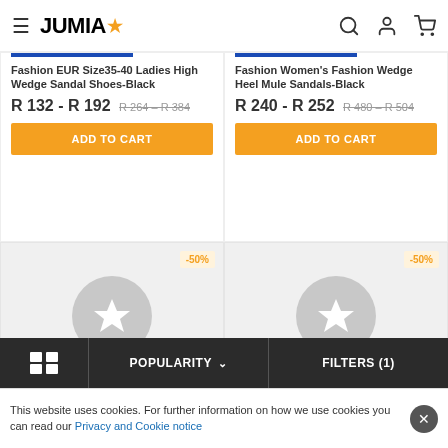JUMIA
Fashion EUR Size35-40 Ladies High Wedge Sandal Shoes-Black
R 132 - R 192  R 264  R 384
Fashion Women's Fashion Wedge Heel Mule Sandals-Black
R 240 - R 252  R 480  R 504
[Figure (photo): Product image placeholder with star circle icon, -50% discount badge]
[Figure (photo): Product image placeholder with star circle icon, -50% discount badge]
POPULARITY
FILTERS (1)
This website uses cookies. For further information on how we use cookies you can read our Privacy and Cookie notice